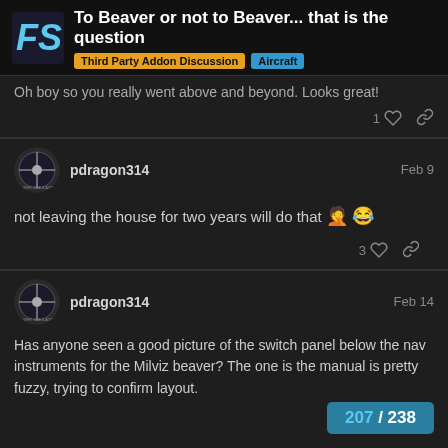To Beaver or not to Beaver... that is the question | Third Party Addon Discussion | Aircraft
Oh boy so you really went above and beyond. Looks great!
pdragon314  Feb 9
not leaving the house for two years will do that 🤦 😂
pdragon314  Feb 14
Has anyone seen a good picture of the switch panel below the nav instruments for the Milviz beaver? The one is the manual is pretty fuzzy, trying to confirm layout.
207 / 238